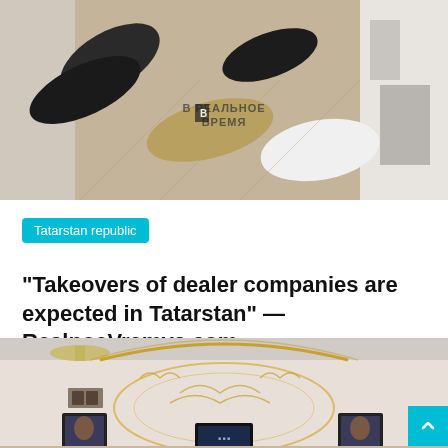[Figure (photo): Aerial interior view of a car dealership showroom with multiple cars parked on a beige floor, watermark reading РЕАЛЬНОЕ ВРЕМЯ visible in center]
Tatarstan republic
“Takeovers of dealer companies are expected in Tatarstan” — RealnoeVremya.com
Rose D. Jones   August 23, 2022
[Figure (photo): Interior of an ornate hall or restaurant with decorated white walls featuring gold arabesque patterns, chandeliers, and framed portraits]